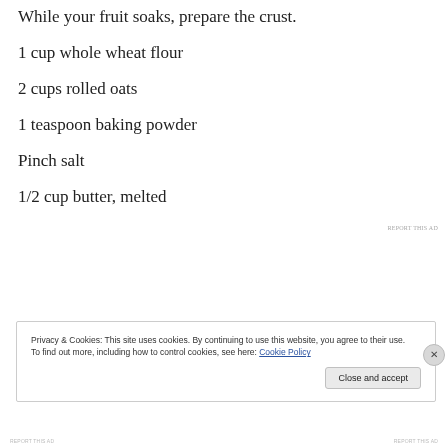While your fruit soaks, prepare the crust.
1 cup whole wheat flour
2 cups rolled oats
1 teaspoon baking powder
Pinch salt
1/2 cup butter, melted
REPORT THIS AD
Privacy & Cookies: This site uses cookies. By continuing to use this website, you agree to their use.
To find out more, including how to control cookies, see here: Cookie Policy
Close and accept